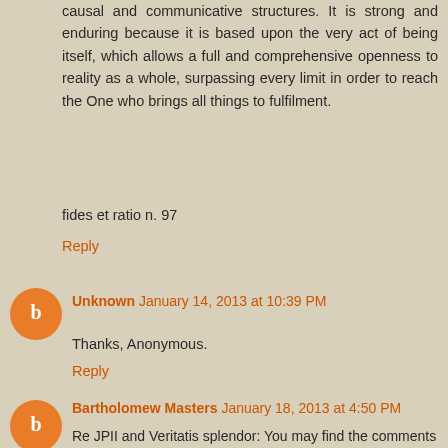causal and communicative structures. It is strong and enduring because it is based upon the very act of being itself, which allows a full and comprehensive openness to reality as a whole, surpassing every limit in order to reach the One who brings all things to fulfilment.
fides et ratio n. 97
Reply
Unknown January 14, 2013 at 10:39 PM
Thanks, Anonymous.
Reply
Bartholomew Masters January 18, 2013 at 4:50 PM
Re JPII and Veritatis splendor: You may find the comments on the following two web pages interesting:
http://www.riscossacristiana.it/index.php?option=com_content&view=article&id=1995:la-grande-